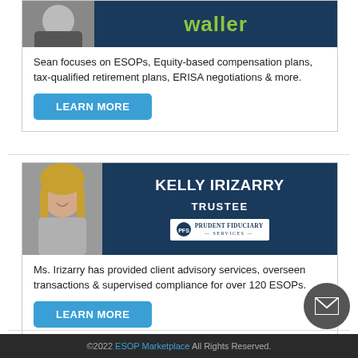[Figure (other): Partial profile card for Sean (top cut off), showing Waller law firm logo and photo, with text about ESOPs and a Learn More button]
Sean focuses on ESOPs, Equity-based compensation plans, tax-qualified retirement plans, ERISA negotiations & more.
[Figure (other): Profile card for Kelly Irizarry, Trustee at Prudent Fiduciary Services, with photo and company logo]
Ms. Irizarry has provided client advisory services, overseen transactions & supervised compliance for over 120 ESOPs.
©2022 ESOP Marketplace All Rights Reserved.